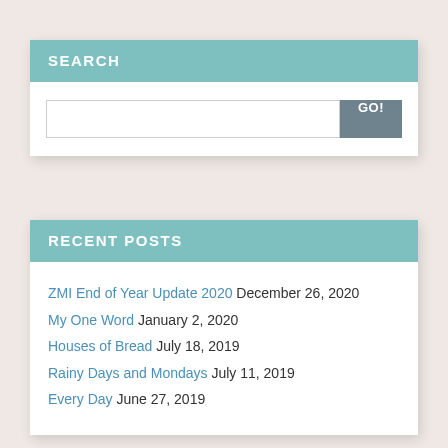SEARCH
RECENT POSTS
ZMI End of Year Update 2020 December 26, 2020
My One Word January 2, 2020
Houses of Bread July 18, 2019
Rainy Days and Mondays July 11, 2019
Every Day June 27, 2019